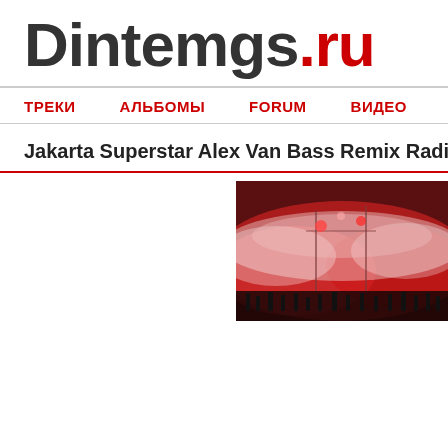Dintemgs.ru
ТРЕКИ  АЛЬБОМЫ  FORUM  ВИДЕО
Jakarta Superstar Alex Van Bass Remix Radio Edit - му
[Figure (photo): Red and white smoke/fog at what appears to be a concert or stadium event with crowd silhouettes]
Исполнитель: Jakarta
Название mp3: Superstar (Alex Van Bass Remix Radio Edit)
Длительность: 03:26
Добавлен: 2015-12-11
Просмотрено: 589